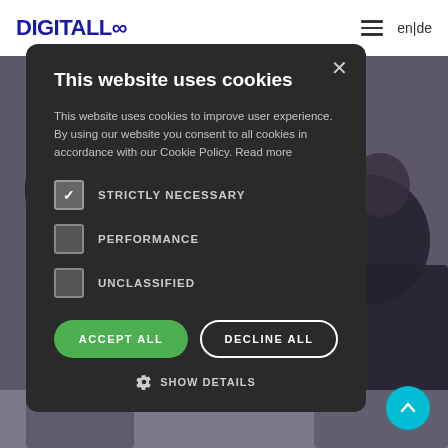[Figure (screenshot): Website header with DIGITALL logo (blue, bold), hamburger menu icon, and language selector showing 'en|de' on white background]
[Figure (photo): Background photo showing people in business attire at what appears to be a conference or meeting, with large blue letters visible in background]
This website uses cookies
This website uses cookies to improve user experience. By using our website you consent to all cookies in accordance with our Cookie Policy. Read more
STRICTLY NECESSARY (checked)
PERFORMANCE (unchecked)
UNCLASSIFIED (unchecked)
ACCEPT ALL
DECLINE ALL
SHOW DETAILS